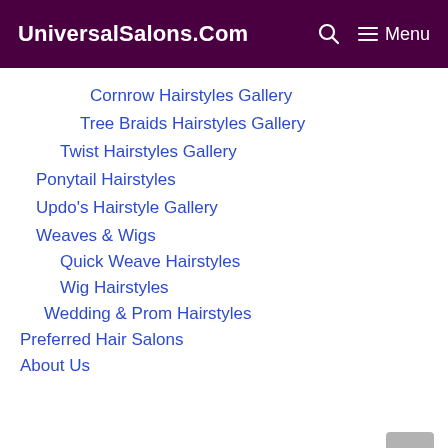UniversalSalons.Com  🔍  ≡ Menu
Cornrow Hairstyles Gallery
Tree Braids Hairstyles Gallery
Twist Hairstyles Gallery
Ponytail Hairstyles
Updo's Hairstyle Gallery
Weaves & Wigs
Quick Weave Hairstyles
Wig Hairstyles
Wedding & Prom Hairstyles
Preferred Hair Salons
About Us